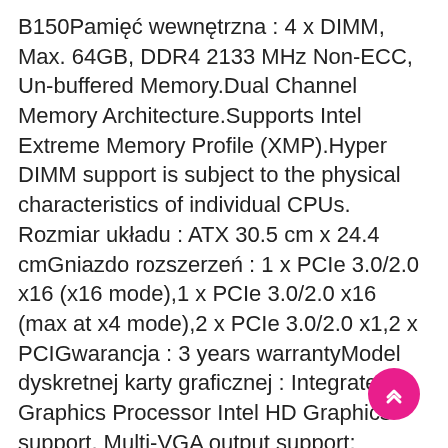B150Pamięć wewnętrzna : 4 x DIMM, Max. 64GB, DDR4 2133 MHz Non-ECC, Un-buffered Memory.Dual Channel Memory Architecture.Supports Intel Extreme Memory Profile (XMP).Hyper DIMM support is subject to the physical characteristics of individual CPUs. Rozmiar układu : ATX 30.5 cm x 24.4 cmGniazdo rozszerzeń : 1 x PCIe 3.0/2.0 x16 (x16 mode),1 x PCIe 3.0/2.0 x16 (max at x4 mode),2 x PCIe 3.0/2.0 x1,2 x PCIGwarancja : 3 years warrantyModel dyskretnej karty graficznej : Integrated Graphics Processor Intel HD Graphics support. Multi-VGA output support: HDMI/RGB ports. Supports HDMI with max. resolution 4096 x 2160 @ 24 Hz.Supports RGB with max. resolution 1920 x 1200 @ 60 Hz.Maximum shared memory of 1024 MB.Supports Intel InTru 3D, Quick Sync Video, Clear Video HD Technology, Insider.Supports AMD Quad-GPU CrossFireX Technology.Supports AMD 2-Way CrossFireX TechnologyProtokoły zarządzające : WfM 2.0, DMI 3.0, WOL by PME, PXERodzina adaptera graficznego : Integrated Graphics Processor Intel HD Graphics support. Multi-VGA